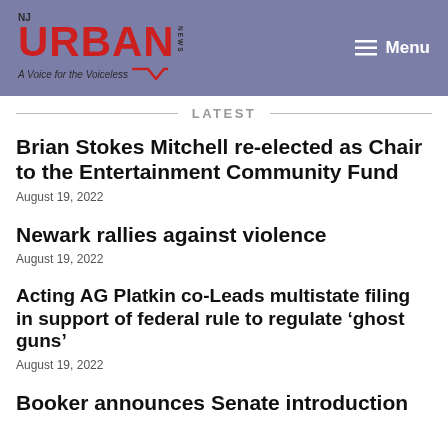[Figure (logo): NJ Urban News logo with red URBAN text, NJ and NEWS labels, and tagline 'A Voice for the Voiceless' with chevron/arrow graphic on purple/blue header background]
Menu
LATEST
Brian Stokes Mitchell re-elected as Chair to the Entertainment Community Fund
August 19, 2022
Newark rallies against violence
August 19, 2022
Acting AG Platkin co-Leads multistate filing in support of federal rule to regulate ‘ghost guns’
August 19, 2022
Booker announces Senate introduction